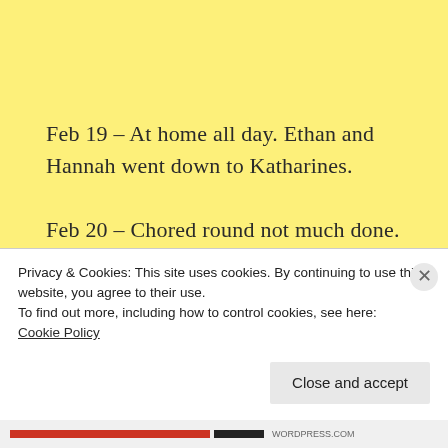Feb 19 – At home all day. Ethan and Hannah went down to Katharines.
Feb 20 – Chored round not much done. Rained some not very cold. Mrs Youngs called here.
Feb 21 – Worked on Table 6½ Hours just on
Privacy & Cookies: This site uses cookies. By continuing to use this website, you agree to their use.
To find out more, including how to control cookies, see here:
Cookie Policy
Close and accept